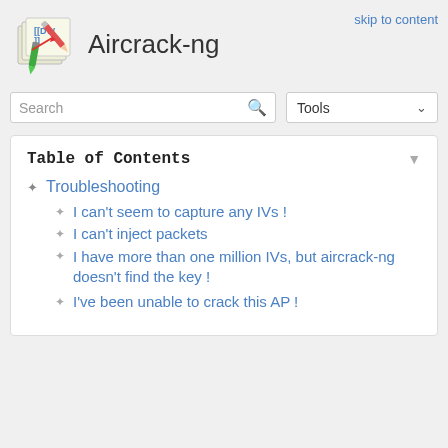Aircrack-ng
skip to content
Search
Tools
Table of Contents
Troubleshooting
I can't seem to capture any IVs !
I can't inject packets
I have more than one million IVs, but aircrack-ng doesn't find the key !
I've been unable to crack this AP !